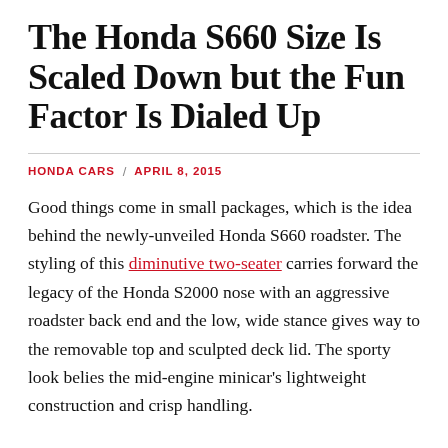The Honda S660 Size Is Scaled Down but the Fun Factor Is Dialed Up
HONDA CARS / APRIL 8, 2015
Good things come in small packages, which is the idea behind the newly-unveiled Honda S660 roadster. The styling of this diminutive two-seater carries forward the legacy of the Honda S2000 nose with an aggressive roadster back end and the low, wide stance gives way to the removable top and sculpted deck lid. The sporty look belies the mid-engine minicar's lightweight construction and crisp handling.